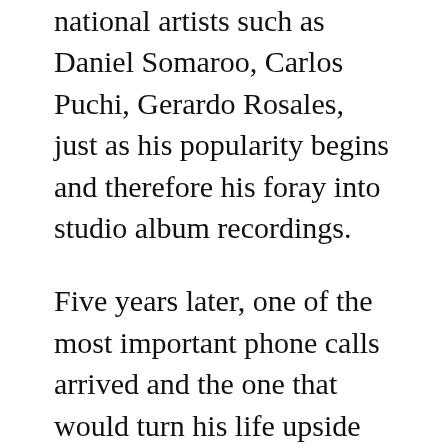national artists such as Daniel Somaroo, Carlos Puchi, Gerardo Rosales, just as his popularity begins and therefore his foray into studio album recordings.
Five years later, one of the most important phone calls arrived and the one that would turn his life upside down. Omar receives the call from Andy Vargas, the singer of the famous Mexican guitarist Carlos Santana. Vargas invited him to participate in his first residency at the Bellagio hotel in Las Vegas (Nevada), doing a show every half hour starting at six in the afternoon in the renowned bar of those facilities. This residency gave him many satisfactions and multiple experiences during his four years